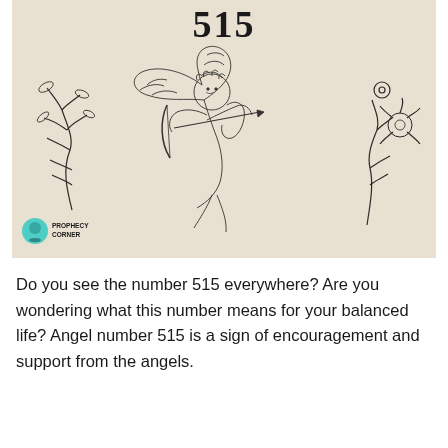[Figure (illustration): Illustration of a cherub/cupid angel with wings drawing a bow and arrow, surrounded by decorative botanical line drawings of leaves and flowers on a beige/cream background, with the number 515 displayed at the top. A 'Prophecy Corner' logo with a teal crystal ball icon appears in the bottom left corner.]
Do you see the number 515 everywhere? Are you wondering what this number means for your balanced life? Angel number 515 is a sign of encouragement and support from the angels.